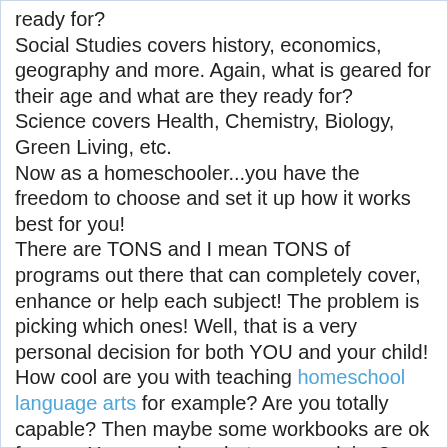ready for?
Social Studies covers history, economics, geography and more. Again, what is geared for their age and what are they ready for?
Science covers Health, Chemistry, Biology, Green Living, etc.
Now as a homeschooler...you have the freedom to choose and set it up how it works best for you!
There are TONS and I mean TONS of programs out there that can completely cover, enhance or help each subject! The problem is picking which ones! Well, that is a very personal decision for both YOU and your child! How cool are you with teaching homeschool language arts for example? Are you totally capable? Then maybe some workbooks are ok for you. Have no clue what you are doing? Then maybe an online program would be better.
The best thing I can offer new to homeschooling parents is RESEARCH! And breathe! Because we are homeschoolers, we have the luxury of picking and choosing things that work and if they do not work, toss them and find something that does. We are never tied down by anything other than ourselves!
Go, Research, Learn and Decide!